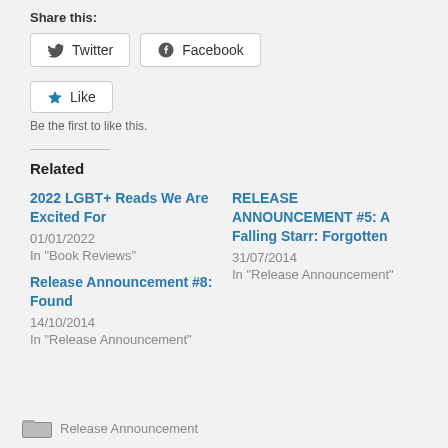Share this:
Twitter   Facebook
Like
Be the first to like this.
Related
2022 LGBT+ Reads We Are Excited For
01/01/2022
In "Book Reviews"
Release Announcement #8: Found
14/10/2014
In "Release Announcement"
RELEASE ANNOUNCEMENT #5: A Falling Starr: Forgotten
31/07/2014
In "Release Announcement"
Release Announcement